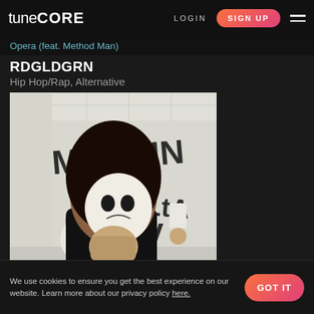tuneCORE  LOGIN  SIGN UP
Opera (feat. Method Man)
RDGLDGRN
Hip Hop/Rap, Alternative
[Figure (photo): Album cover for RDGLDGRN showing person in black outfit with white face paint in a padded room. Graffiti text reads MASKIN ALTA V on walls. Red name tag reads Mamsesten. Small figure sitting in background.]
We use cookies to ensure you get the best experience on our website. Learn more about our privacy policy here.